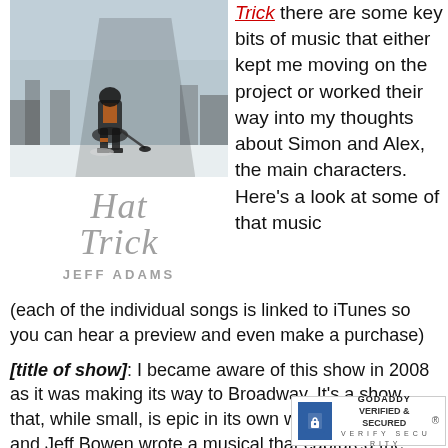[Figure (photo): Book cover for 'Hat Trick' by Jeff Adams, showing a hockey player on ice with trees in background, and the title in large italic gray text with author name below.]
Trick there are some key bits of music that either kept me moving on the project or worked their way into my thoughts about Simon and Alex, the main characters. Here's a look at some of that music (each of the individual songs is linked to iTunes so you can hear a preview and even make a purchase)
[title of show]: I became aware of this show in 2008 as it was making its way to Broadway. It's a show that, while small, is epic in its own way. Hunter Bell and Jeff Bowen wrote a musical that captured the trials and tribulations of anyone trying to do some... Three songs are touchstones to me:
[Figure (logo): GoDaddy Verified & Secured badge]